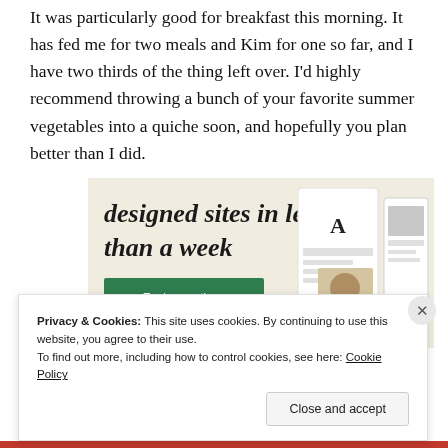It was particularly good for breakfast this morning. It has fed me for two meals and Kim for one so far, and I have two thirds of the thing left over. I'd highly recommend throwing a bunch of your favorite summer vegetables into a quiche soon, and hopefully you plan better than I did.
[Figure (screenshot): Advertisement banner with cream background showing text 'designed sites in less than a week' with a green 'Explore options' button and website mockup screenshots on the right side.]
Privacy & Cookies: This site uses cookies. By continuing to use this website, you agree to their use.
To find out more, including how to control cookies, see here: Cookie Policy
Close and accept